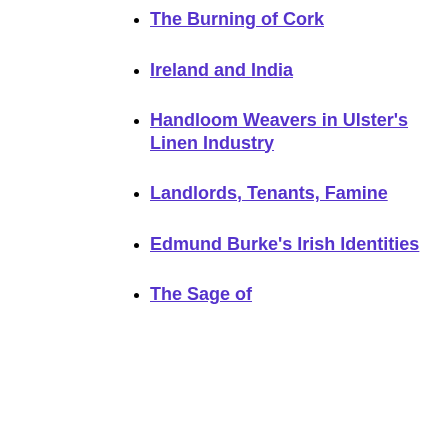The Burning of Cork
Ireland and India
Handloom Weavers in Ulster's Linen Industry
Landlords, Tenants, Famine
Edmund Burke's Irish Identities
The Sage of